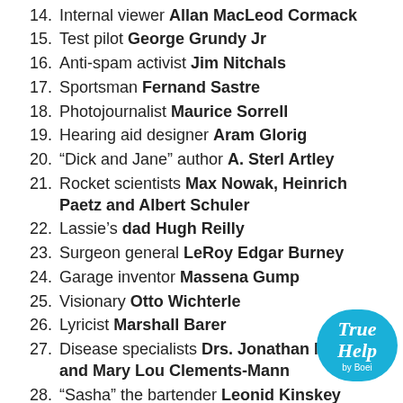14. Internal viewer Allan MacLeod Cormack
15. Test pilot George Grundy Jr
16. Anti-spam activist Jim Nitchals
17. Sportsman Fernand Sastre
18. Photojournalist Maurice Sorrell
19. Hearing aid designer Aram Glorig
20. “Dick and Jane” author A. Sterl Artley
21. Rocket scientists Max Nowak, Heinrich Paetz and Albert Schuler
22. Lassie’s dad Hugh Reilly
23. Surgeon general LeRoy Edgar Burney
24. Garage inventor Massena Gump
25. Visionary Otto Wichterle
26. Lyricist Marshall Barer
27. Disease specialists Drs. Jonathan Mann and Mary Lou Clements-Mann
28. “Sasha” the bartender Leonid Kinskey
29. Tech designer Reynold B. Johnson